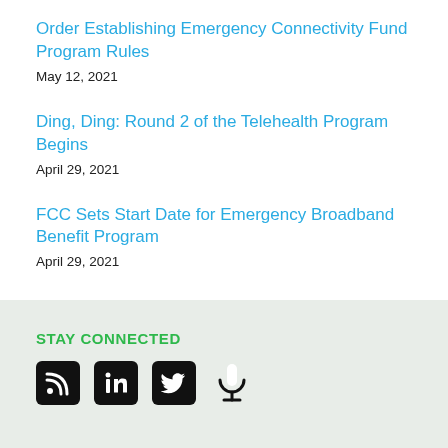Order Establishing Emergency Connectivity Fund Program Rules
May 12, 2021
Ding, Ding: Round 2 of the Telehealth Program Begins
April 29, 2021
FCC Sets Start Date for Emergency Broadband Benefit Program
April 29, 2021
STAY CONNECTED